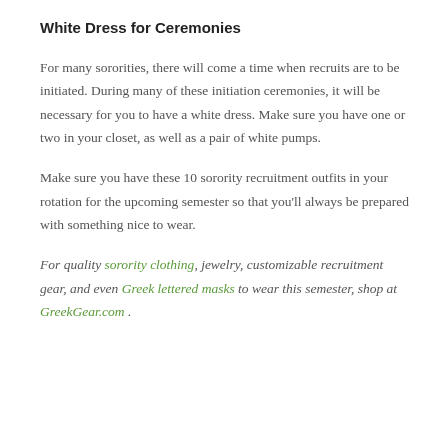White Dress for Ceremonies
For many sororities, there will come a time when recruits are to be initiated. During many of these initiation ceremonies, it will be necessary for you to have a white dress. Make sure you have one or two in your closet, as well as a pair of white pumps.
Make sure you have these 10 sorority recruitment outfits in your rotation for the upcoming semester so that you'll always be prepared with something nice to wear.
For quality sorority clothing, jewelry, customizable recruitment gear, and even Greek lettered masks to wear this semester, shop at GreekGear.com .